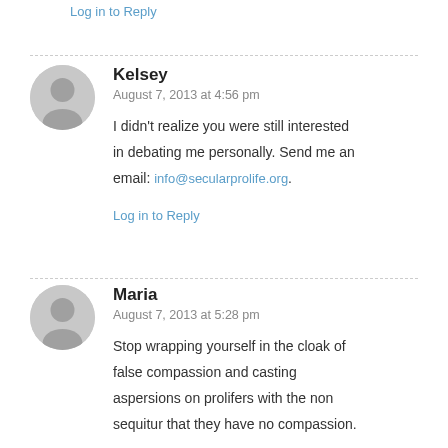Log in to Reply
Kelsey
August 7, 2013 at 4:56 pm
I didn't realize you were still interested in debating me personally. Send me an email: info@secularprolife.org.
Log in to Reply
Maria
August 7, 2013 at 5:28 pm
Stop wrapping yourself in the cloak of false compassion and casting aspersions on prolifers with the non sequitur that they have no compassion.